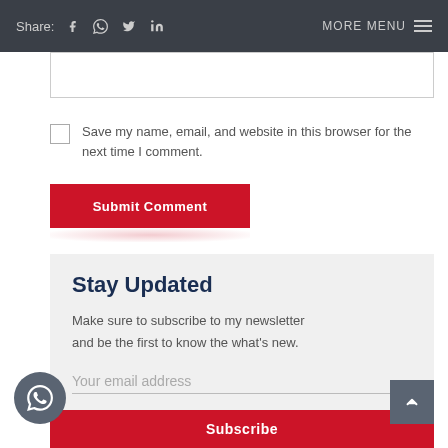Share: [Facebook] [WhatsApp] [Twitter] [LinkedIn]  MORE MENU
[Figure (screenshot): Comment text area input box (empty)]
Save my name, email, and website in this browser for the next time I comment.
Submit Comment
Stay Updated
Make sure to subscribe to my newsletter and be the first to know the what's new.
Your email address
Subscribe